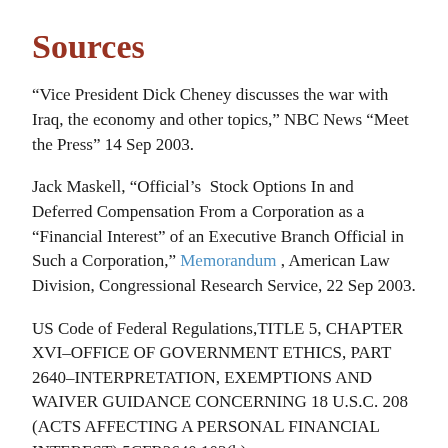Sources
“Vice President Dick Cheney discusses the war with Iraq, the economy and other topics,” NBC News “Meet the Press” 14 Sep 2003.
Jack Maskell, “Official’s  Stock Options In and Deferred Compensation From a Corporation as a “Financial Interest” of an Executive Branch Official in Such a Corporation,” Memorandum , American Law Division, Congressional Research Service, 22 Sep 2003.
US Code of Federal Regulations,TITLE 5, CHAPTER XVI–OFFICE OF GOVERNMENT ETHICS, PART 2640–INTERPRETATION, EXEMPTIONS AND WAIVER GUIDANCE CONCERNING 18 U.S.C. 208 (ACTS AFFECTING A PERSONAL FINANCIAL INTEREST) 5CFR2640.103(b)